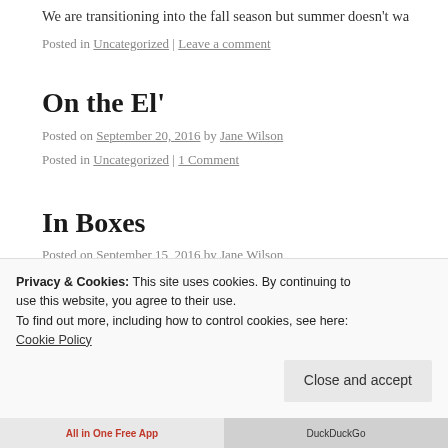We are transitioning into the fall season but summer doesn't wa
Posted in Uncategorized | Leave a comment
On the El'
Posted on September 20, 2016 by Jane Wilson
Posted in Uncategorized | 1 Comment
In Boxes
Posted on September 15, 2016 by Jane Wilson
Originally posted on Barbara Froman:
Privacy & Cookies: This site uses cookies. By continuing to use this website, you agree to their use.
To find out more, including how to control cookies, see here: Cookie Policy
Close and accept